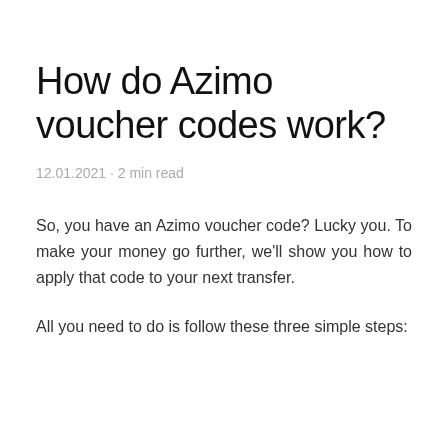How do Azimo voucher codes work?
12.01.2021 • 2 min read
So, you have an Azimo voucher code? Lucky you. To make your money go further, we'll show you how to apply that code to your next transfer.
All you need to do is follow these three simple steps: